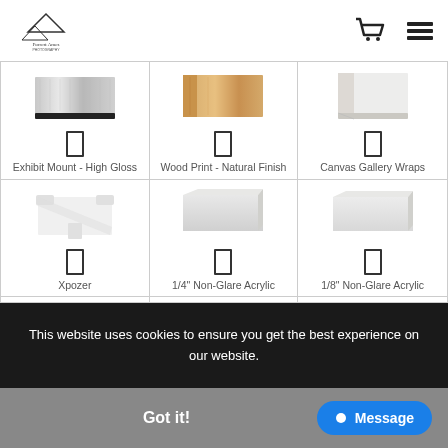Forrest Ames Photography - logo and navigation icons
[Figure (other): Product grid showing 6 print/product types: Exhibit Mount - High Gloss, Wood Print - Natural Finish, Canvas Gallery Wraps, Xpozer, 1/4" Non-Glare Acrylic, 1/8" Non-Glare Acrylic, Coasters (Set of 4), T-Shirts, Tote Bags]
This website uses cookies to ensure you get the best experience on our website.
Got it!
Message